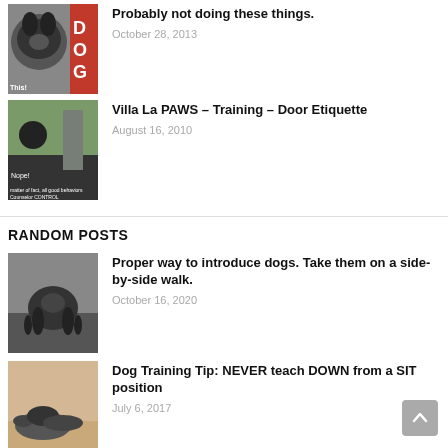[Figure (photo): Dog magazine cover image with red background and text 'This!']
Probably not doing these things.
October 28, 2013
[Figure (photo): Person training a dog at a door, text overlay about good behavior and Counselor CONTROL]
Villa La PAWS – Training – Door Etiquette
August 16, 2010
RANDOM POSTS
[Figure (photo): Two dogs side by side outdoors]
Proper way to introduce dogs. Take them on a side-by-side walk.
October 16, 2020
[Figure (photo): Dog lying down on floor]
Dog Training Tip: NEVER teach DOWN from a SIT position
July 6, 2017